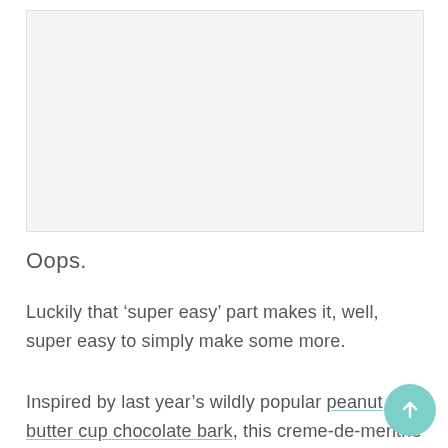[Figure (photo): Placeholder image area with light gray background]
Oops.
Luckily that ‘super easy’ part makes it, well, super easy to simply make some more.
Inspired by last year’s wildly popular peanut butter cup chocolate bark, this creme-de-menthe bark